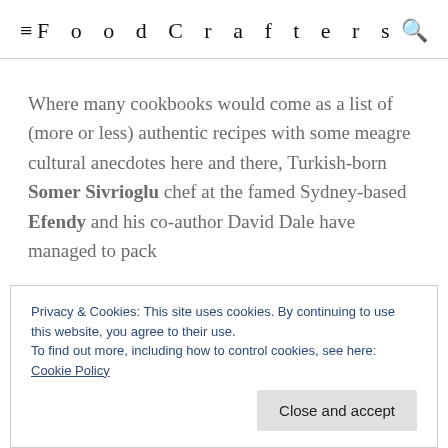FoodCrafters
Where many cookbooks would come as a list of (more or less) authentic recipes with some meagre cultural anecdotes here and there, Turkish-born Somer Sivrioglu chef at the famed Sydney-based Efendy and his co-author David Dale have managed to pack
Privacy & Cookies: This site uses cookies. By continuing to use this website, you agree to their use.
To find out more, including how to control cookies, see here: Cookie Policy
Close and accept